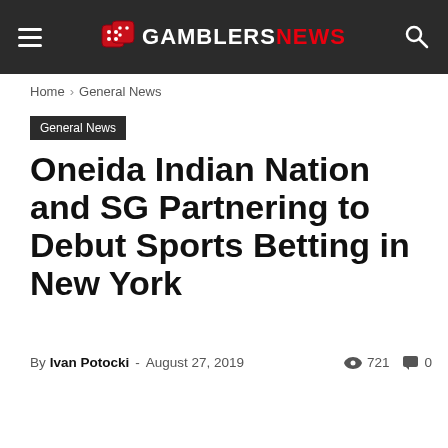GAMBLERS NEWS
Home › General News
General News
Oneida Indian Nation and SG Partnering to Debut Sports Betting in New York
By Ivan Potocki - August 27, 2019  721  0